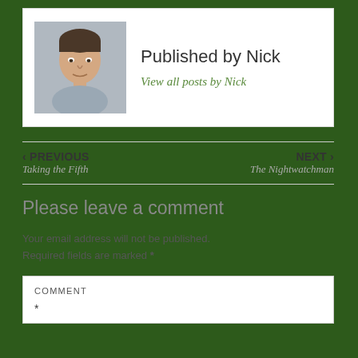[Figure (photo): Headshot of a man named Nick in a grey shirt]
Published by Nick
View all posts by Nick
‹ PREVIOUS
Taking the Fifth
NEXT ›
The Nightwatchman
Please leave a comment
Your email address will not be published. Required fields are marked *
COMMENT
*